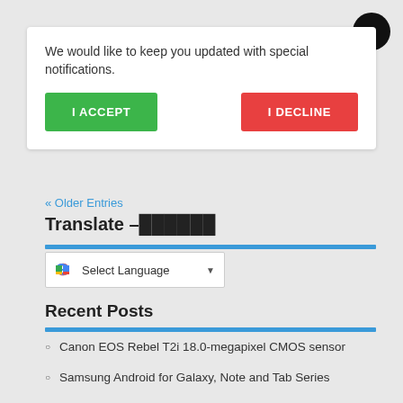We would like to keep you updated with special notifications.
[Figure (screenshot): I ACCEPT green button and I DECLINE red button]
« Older Entries
Translate –
[Figure (screenshot): Google Translate widget with Select Language dropdown]
Recent Posts
Canon EOS Rebel T2i 18.0-megapixel CMOS sensor
Samsung Android for Galaxy, Note and Tab Series